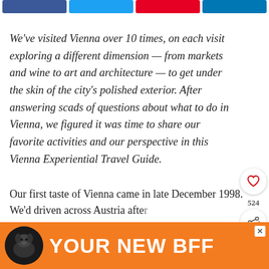[Figure (other): Social media share buttons row: Facebook (blue), Twitter (cyan), Pinterest (red), LinkedIn (blue)]
We've visited Vienna over 10 times, on each visit exploring a different dimension — from markets and wine to art and architecture — to get under the skin of the city's polished exterior. After answering scads of questions about what to do in Vienna, we figured it was time to share our favorite activities and our perspective in this Vienna Experiential Travel Guide.
[Figure (infographic): Side widget with heart/save icon, count 524, and share icon]
Our first taste of Vienna came in late December 1998. We'd driven across Austria afte[r]
[Figure (infographic): WHAT'S NEXT panel: thumbnail image with text 'Traveling Australia in...' and close button]
[Figure (infographic): Advertisement banner with dog image and text 'YOUR NEW BFF' on orange background with close X button]